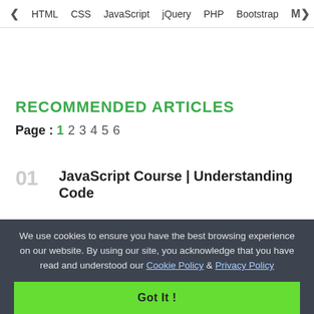< HTML  CSS  JavaScript  jQuery  PHP  Bootstrap  M>
RECOMMENDED ARTICLES
Page : 1 2 3 4 5 6
01  JavaScript Course | Understanding Code
We use cookies to ensure you have the best browsing experience on our website. By using our site, you acknowledge that you have read and understood our Cookie Policy & Privacy Policy
Got It !